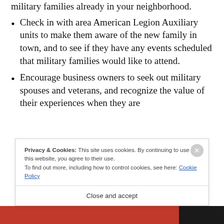military families already in your neighborhood.
Check in with area American Legion Auxiliary units to make them aware of the new family in town, and to see if they have any events scheduled that military families would like to attend.
Encourage business owners to seek out military spouses and veterans, and recognize the value of their experiences when they are
Privacy & Cookies: This site uses cookies. By continuing to use this website, you agree to their use.
To find out more, including how to control cookies, see here: Cookie Policy
Close and accept